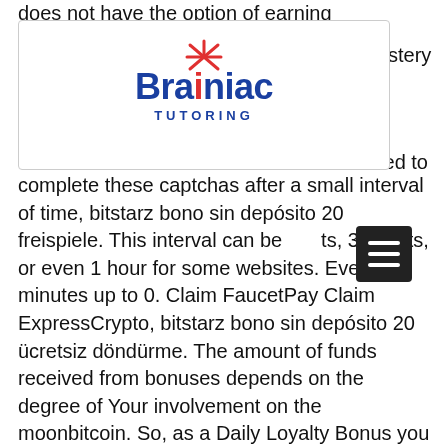does not have the option of earning
[Figure (logo): Brainiac Tutoring logo with red spark/asterisk graphic above the 'i' in Brainiac, text 'Brainiac TUTORING' in blue]
complete these captchas after a small interval of time, bitstarz bono sin depósito 20 freispiele. This interval can be minutes, 30 mints, or even 1 hour for some websites. Every 5 minutes up to 0. Claim FaucetPay Claim ExpressCrypto, bitstarz bono sin depósito 20 ücretsiz döndürme. The amount of funds received from bonuses depends on the degree of Your involvement on the moonbitcoin. So, as a Daily Loyalty Bonus you get an extra 1% for claiming BCH at least once a day, bitstarz bono sin depósito code. Hacia mucho tiempo que no encontrabamos una web tan completa y es que no sabemos si catalogarla como grifo o como web multitarea. Lo que mas nos ha sorprendido es que puedes cobrar en la criptomoneda que tu eliias, siempre y